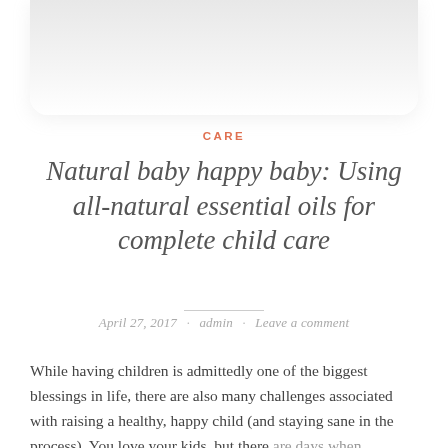[Figure (photo): Partial view of a white rounded container or jar, shown from above, against a white background — product image for a baby care article.]
CARE
Natural baby happy baby: Using all-natural essential oils for complete child care
April 27, 2017 · admin · Leave a comment
While having children is admittedly one of the biggest blessings in life, there are also many challenges associated with raising a healthy, happy child (and staying sane in the process). You love your kids, but there are days when everything seems to be going wrong.